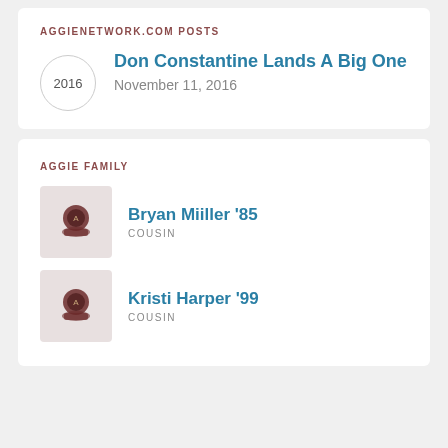AGGIENETWORK.COM POSTS
Don Constantine Lands A Big One
November 11, 2016
AGGIE FAMILY
Bryan Miiller '85
COUSIN
Kristi Harper '99
COUSIN